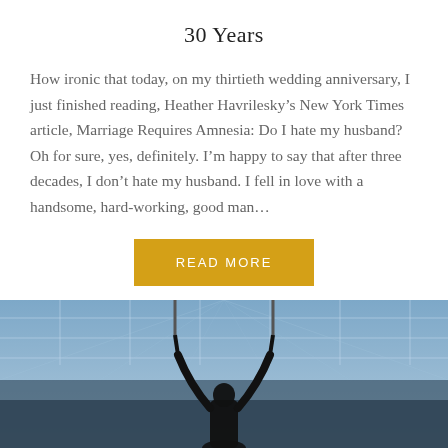30 Years
How ironic that today, on my thirtieth wedding anniversary, I just finished reading, Heather Havrilesky’s New York Times article, Marriage Requires Amnesia: Do I hate my husband? Oh for sure, yes, definitely. I’m happy to say that after three decades, I don’t hate my husband. I fell in love with a handsome, hard-working, good man…
READ MORE
[Figure (photo): Silhouette of a person with arms raised against a ceiling with geometric tile pattern in blue-grey tones]